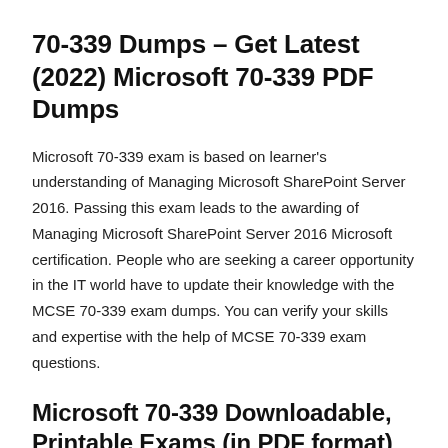70-339 Dumps – Get Latest (2022) Microsoft 70-339 PDF Dumps
Microsoft 70-339 exam is based on learner's understanding of Managing Microsoft SharePoint Server 2016. Passing this exam leads to the awarding of Managing Microsoft SharePoint Server 2016 Microsoft certification. People who are seeking a career opportunity in the IT world have to update their knowledge with the MCSE 70-339 exam dumps. You can verify your skills and expertise with the help of MCSE 70-339 exam questions.
Microsoft 70-339 Downloadable, Printable Exams (in PDF format)